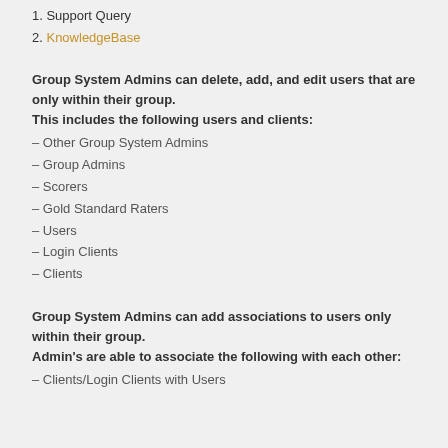1. Support Query
2. KnowledgeBase
Group System Admins can delete, add, and edit users that are only within their group. This includes the following users and clients:
– Other Group System Admins
– Group Admins
– Scorers
– Gold Standard Raters
– Users
– Login Clients
– Clients
Group System Admins can add associations to users only within their group. Admin's are able to associate the following with each other:
– Clients/Login Clients with Users